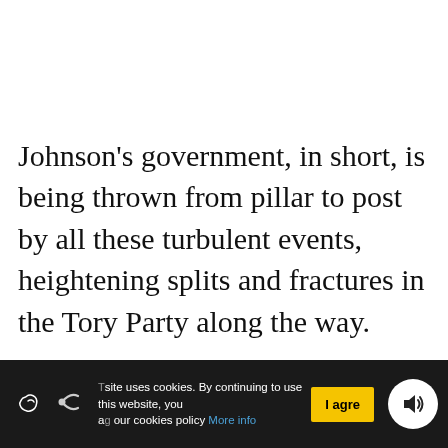Johnson's government, in short, is being thrown from pillar to post by all these turbulent events, heightening splits and fractures in the Tory Party along the way.
This site uses cookies. By continuing to use this website, you agree to our cookies policy More info